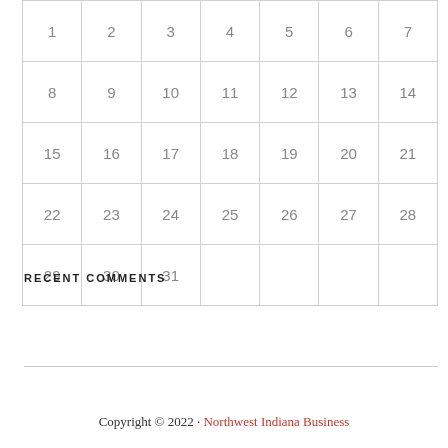| 1 | 2 | 3 | 4 | 5 | 6 | 7 |
| 8 | 9 | 10 | 11 | 12 | 13 | 14 |
| 15 | 16 | 17 | 18 | 19 | 20 | 21 |
| 22 | 23 | 24 | 25 | 26 | 27 | 28 |
| 29 | 30 | 31 |  |  |  |  |
RECENT COMMENTS
Copyright © 2022 · Northwest Indiana Business